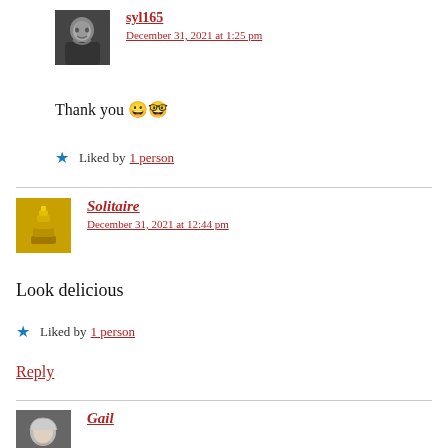[Figure (photo): Avatar photo of user syl165 - black and white photo of a man smiling]
syl165
December 31, 2021 at 1:25 pm
Thank you 😀🤓
★ Liked by 1 person
[Figure (photo): Avatar photo of user Solitaire - golden stacked blocks/books image]
Solitaire
December 31, 2021 at 12:44 pm
Look delicious
★ Liked by 1 person
Reply
[Figure (photo): Avatar photo of user Gail - partially visible]
Gail